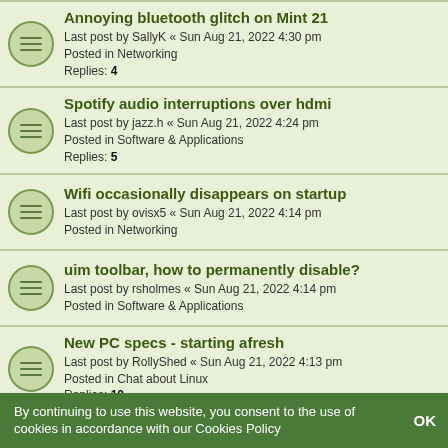Annoying bluetooth glitch on Mint 21
Last post by SallyK « Sun Aug 21, 2022 4:30 pm
Posted in Networking
Replies: 4
Spotify audio interruptions over hdmi
Last post by jazz.h « Sun Aug 21, 2022 4:24 pm
Posted in Software & Applications
Replies: 5
Wifi occasionally disappears on startup
Last post by ovisx5 « Sun Aug 21, 2022 4:14 pm
Posted in Networking
uim toolbar, how to permanently disable?
Last post by rsholmes « Sun Aug 21, 2022 4:14 pm
Posted in Software & Applications
New PC specs - starting afresh
Last post by RollyShed « Sun Aug 21, 2022 4:13 pm
Posted in Chat about Linux
Replies: 10
Dropping WiFi connection after some time
Last post by sleeper12 « Sun Aug 21, 2022 4:03 pm
Posted in Networking
Replies: 5
Mint stuck on black screen after GRUB
Last post by imPaul « Sun Aug 21, 2022 3:54 pm
Posted in Graphics Cards & Monitors
By continuing to use this website, you consent to the use of cookies in accordance with our Cookies Policy